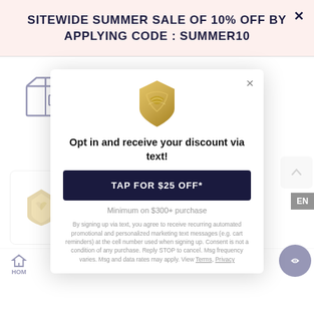SITEWIDE SUMMER SALE OF 10% OFF BY APPLYING CODE : SUMMER10
[Figure (illustration): Dark blue outline icon of a shipping box/package]
Free U.S. Shipping
[Figure (illustration): Popup modal with gold shield logo, headline 'Opt in and receive your discount via text!', dark navy button 'TAP FOR $25 OFF*', subtext 'Minimum on $300+ purchase', and legal disclaimer text about SMS marketing]
Opt in and receive your discount via text!
TAP FOR $25 OFF*
Minimum on $300+ purchase
By signing up via text, you agree to receive recurring automated promotional and personalized marketing text messages (e.g. cart reminders) at the cell number used when signing up. Consent is not a condition of any purchase. Reply STOP to cancel. Msg frequency varies. Msg and data rates may apply. View Terms, Privacy